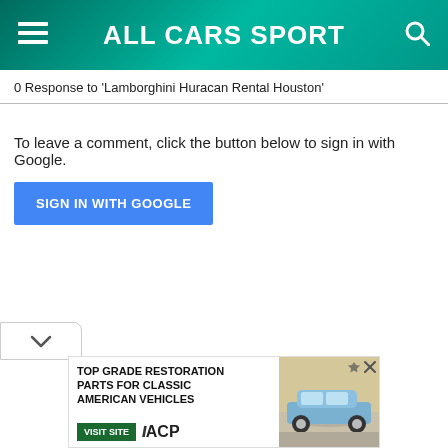ALL CARS SPORT
0 Response to 'Lamborghini Huracan Rental Houston'
To leave a comment, click the button below to sign in with Google.
SIGN IN WITH GOOGLE
[Figure (infographic): Advertisement banner: TOP GRADE RESTORATION PARTS FOR CLASSIC AMERICAN VEHICLES - VISIT SITE - ACP logo with classic American car image]